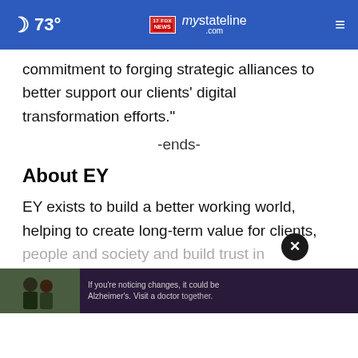73° | mystateline NEWS .com
commitment to forging strategic alliances to better support our clients' digital transformation efforts."
-ends-
About EY
EY exists to build a better working world, helping to create long-term value for clients, people and society and build trust in the capital mark
[Figure (other): Advertisement banner: two men outdoors with text 'If you're noticing changes, it could be Alzheimer's. Visit a doctor together.' with close (X) button overlay]